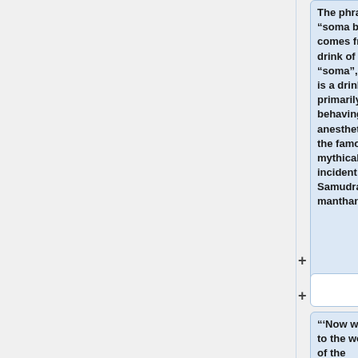The phrase “soma bacteria” comes from the drink of “soma”, which is a drink primarily behaving as an anesthetic in the famous mythical incident of Samudra manthan.
"'Now we come to the working of the bacteria:'"